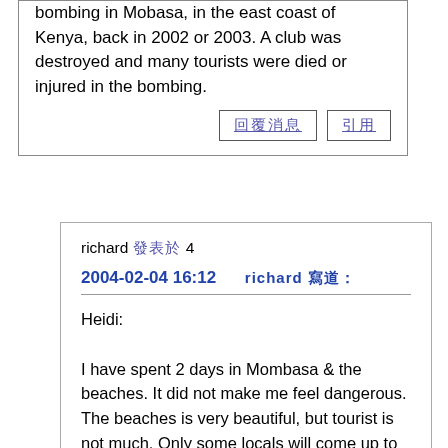bombing in Mobasa, in the east coast of Kenya, back in 2002 or 2003. A club was destroyed and many tourists were died or injured in the bombing.
[button: reply] [button: quote]
richard [CJK chars] 4
2004-02-04 16:12  [CJK] [CJK] [CJK] richard [CJK chars]
Heidi:

I have spent 2 days in Mombasa & the beaches. It did not make me feel dangerous. The beaches is very beautiful, but tourist is not much. Only some locals will come up to you and want you to buy some souvenirs from them. Near Mombasa, there are also some safari